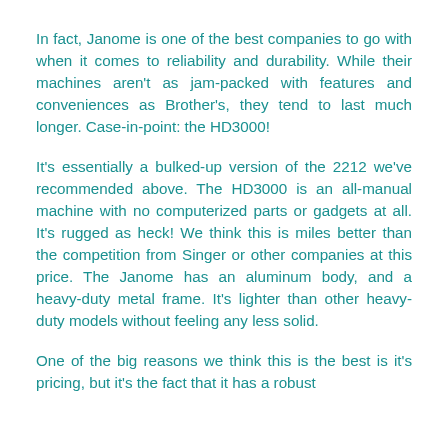In fact, Janome is one of the best companies to go with when it comes to reliability and durability. While their machines aren't as jam-packed with features and conveniences as Brother's, they tend to last much longer. Case-in-point: the HD3000!
It's essentially a bulked-up version of the 2212 we've recommended above. The HD3000 is an all-manual machine with no computerized parts or gadgets at all. It's rugged as heck! We think this is miles better than the competition from Singer or other companies at this price. The Janome has an aluminum body, and a heavy-duty metal frame. It's lighter than other heavy-duty models without feeling any less solid.
One of the big reasons we think this is the best is its pricing, but it's the fact that it has a robust...